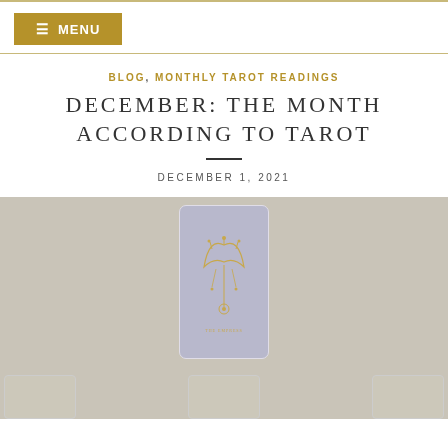≡ MENU
BLOG, MONTHLY TAROT READINGS
DECEMBER: THE MONTH ACCORDING TO TAROT
DECEMBER 1, 2021
[Figure (photo): A tarot card (The Empress) centered on a light linen fabric background, with additional tarot cards partially visible at the bottom edge of the image.]